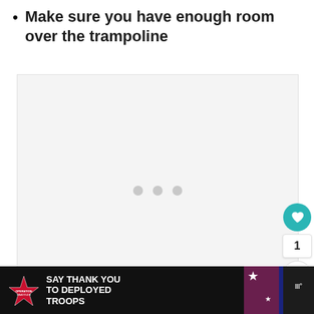Make sure you have enough room over the trampoline
[Figure (photo): Image placeholder / loading area with three gray dots indicating content is loading]
[Figure (infographic): Ad banner at bottom: Operation Gratitude logo, text 'SAY THANK YOU TO DEPLOYED TROOPS', patriotic imagery with owl/cartoon character, close button, weather widget]
[Figure (screenshot): Right sidebar UI with teal heart/like button, count badge showing 1, share button, and 'What's New' widget snippet]